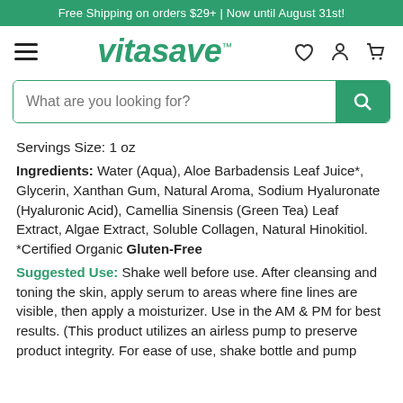Free Shipping on orders $29+ | Now until August 31st!
[Figure (logo): Vitasave logo with hamburger menu and nav icons (heart, person, cart)]
[Figure (screenshot): Search bar with placeholder text 'What are you looking for?' and green search button]
Servings Size: 1 oz
Ingredients: Water (Aqua), Aloe Barbadensis Leaf Juice*, Glycerin, Xanthan Gum, Natural Aroma, Sodium Hyaluronate (Hyaluronic Acid), Camellia Sinensis (Green Tea) Leaf Extract, Algae Extract, Soluble Collagen, Natural Hinokitiol. *Certified Organic Gluten-Free
Suggested Use: Shake well before use. After cleansing and toning the skin, apply serum to areas where fine lines are visible, then apply a moisturizer. Use in the AM & PM for best results. (This product utilizes an airless pump to preserve product integrity. For ease of use, shake bottle and pump